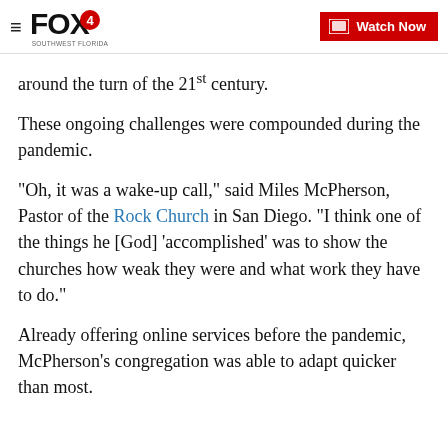FOX4 | Watch Now
around the turn of the 21st century.
These ongoing challenges were compounded during the pandemic.
"Oh, it was a wake-up call," said Miles McPherson, Pastor of the Rock Church in San Diego. "I think one of the things he [God] ‘accomplished’ was to show the churches how weak they were and what work they have to do.”
Already offering online services before the pandemic, McPherson's congregation was able to adapt quicker than most.